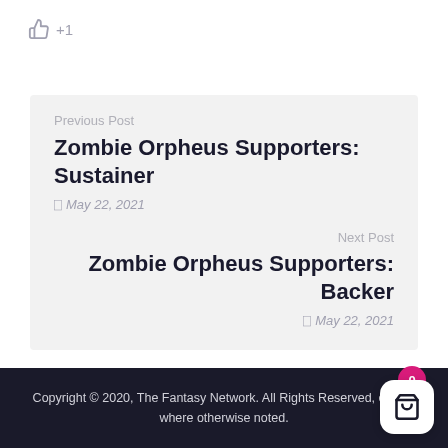+1
Previous Post
Zombie Orpheus Supporters: Sustainer
May 22, 2021
Next Post
Zombie Orpheus Supporters: Backer
May 22, 2021
Copyright © 2020, The Fantasy Network. All Rights Reserved, except where otherwise noted.